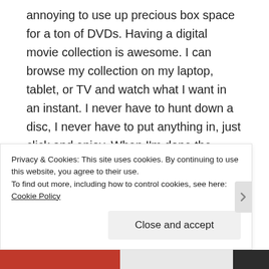annoying to use up precious box space for a ton of DVDs. Having a digital movie collection is awesome. I can browse my collection on my laptop, tablet, or TV and watch what I want in an instant. I never have to hunt down a disc, I never have to put anything in, just click and enjoy. When I'm done the movie stays on the server far away and takes up no space in my room or on my hard drives.
Privacy & Cookies: This site uses cookies. By continuing to use this website, you agree to their use. To find out more, including how to control cookies, see here: Cookie Policy
Close and accept